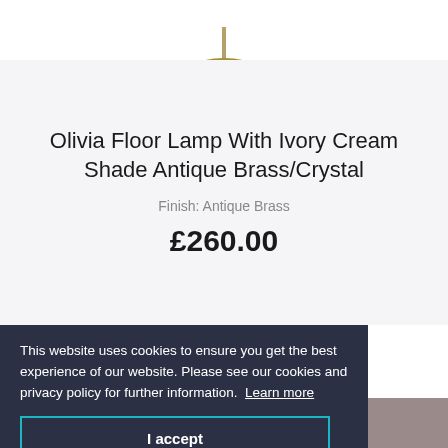[Figure (photo): Partial view of an antique brass floor lamp top/canopy against white background]
Olivia Floor Lamp With Ivory Cream Shade Antique Brass/Crystal
Finish: Antique Brass
£260.00
This website uses cookies to ensure you get the best experience of our website. Please see our cookies and privacy policy for further information.  Learn more
I accept